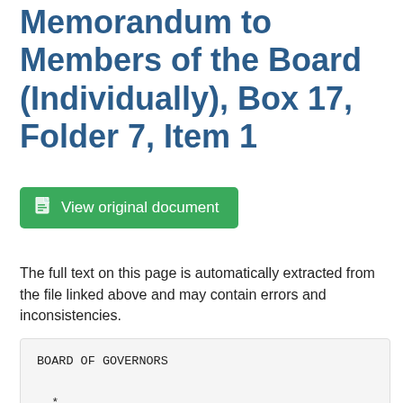Memorandum to Members of the Board (Individually), Box 17, Folder 7, Item 1
View original document
The full text on this page is automatically extracted from the file linked above and may contain errors and inconsistencies.
BOARD OF GOVERNORS

*

IXjJ

\~JWj<4 \ V*